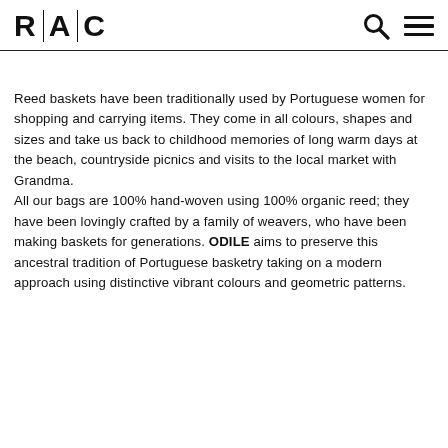R|A|C
Reed baskets have been traditionally used by Portuguese women for shopping and carrying items. They come in all colours, shapes and sizes and take us back to childhood memories of long warm days at the beach, countryside picnics and visits to the local market with Grandma.
All our bags are 100% hand-woven using 100% organic reed; they have been lovingly crafted by a family of weavers, who have been making baskets for generations. ODILE aims to preserve this ancestral tradition of Portuguese basketry taking on a modern approach using distinctive vibrant colours and geometric patterns.